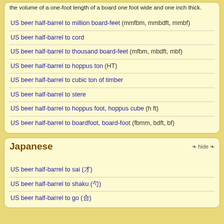the volume of a one-foot length of a board one foot wide and one inch thick.
US beer half-barrel to million board-feet (mmfbm, mmbdft, mmbf)
US beer half-barrel to cord
US beer half-barrel to thousand board-feet (mfbm, mbdft, mbf)
US beer half-barrel to hoppus ton (HT)
US beer half-barrel to cubic ton of timber
US beer half-barrel to stere
US beer half-barrel to hoppus foot, hoppus cube (h ft)
US beer half-barrel to boardfoot, board-foot (fbmm, bdft, bf)
Japanese
US beer half-barrel to sai (才)
US beer half-barrel to shaku (勺)
US beer half-barrel to go (合)